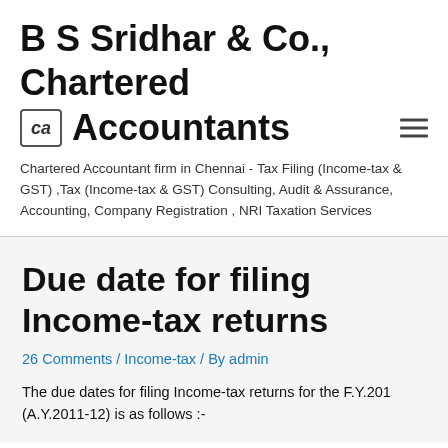B S Sridhar & Co., Chartered Accountants
Chartered Accountant firm in Chennai - Tax Filing (Income-tax & GST) ,Tax (Income-tax & GST) Consulting, Audit & Assurance, Accounting, Company Registration , NRI Taxation Services
Due date for filing Income-tax returns
26 Comments / Income-tax / By admin
The due dates for filing Income-tax returns for the F.Y.201 (A.Y.2011-12) is as follows :-